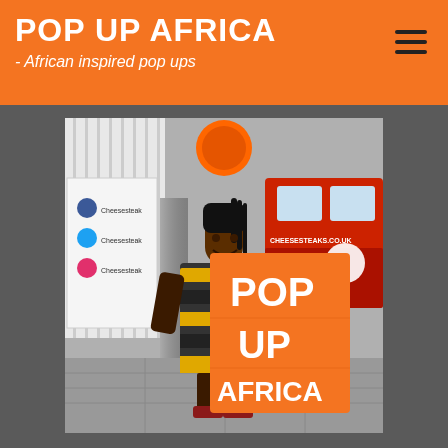POP UP AFRICA - African inspired pop ups
[Figure (photo): A woman standing outdoors holding a large orange sign that reads 'POP UP AFRICA' in white bold letters. She is wearing a yellow and black striped dress with a red lanyard. Behind her is a food truck with 'CHEESESTEAKS.CO.UK' visible, and social media icons on a white board to the left. The setting appears to be a street or outdoor event.]